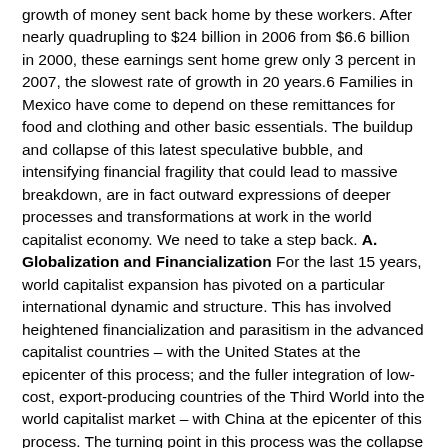growth of money sent back home by these workers. After nearly quadrupling to $24 billion in 2006 from $6.6 billion in 2000, these earnings sent home grew only 3 percent in 2007, the slowest rate of growth in 20 years.6 Families in Mexico have come to depend on these remittances for food and clothing and other basic essentials. The buildup and collapse of this latest speculative bubble, and intensifying financial fragility that could lead to massive breakdown, are in fact outward expressions of deeper processes and transformations at work in the world capitalist economy. We need to take a step back.
A. Globalization and Financialization
For the last 15 years, world capitalist expansion has pivoted on a particular international dynamic and structure. This has involved heightened financialization and parasitism in the advanced capitalist countries – with the United States at the epicenter of this process; and the fuller integration of low-cost, export-producing countries of the Third World into the world capitalist market – with China at the epicenter of this process. The turning point in this process was the collapse of the social-imperialist Soviet Union in 1990-91. With the implosion of the Soviet bloc, the